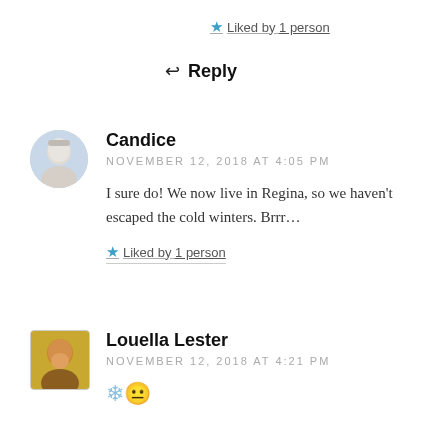★ Liked by 1 person
↩ Reply
[Figure (photo): Avatar photo of Candice, a person with grey/white hair, circular crop]
Candice
NOVEMBER 12, 2018 AT 4:05 PM
I sure do! We now live in Regina, so we haven't escaped the cold winters. Brrr…
★ Liked by 1 person
[Figure (photo): Avatar photo of Louella Lester, a person with dark hair, square/rounded-rectangle crop]
Louella Lester
NOVEMBER 12, 2018 AT 4:21 PM
❄️😦